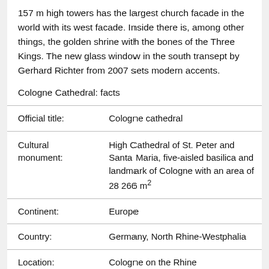157 m high towers has the largest church facade in the world with its west facade. Inside there is, among other things, the golden shrine with the bones of the Three Kings. The new glass window in the south transept by Gerhard Richter from 2007 sets modern accents.
Cologne Cathedral: facts
|  |  |
| --- | --- |
| Official title: | Cologne cathedral |
| Cultural monument: | High Cathedral of St. Peter and Santa Maria, five-aisled basilica and landmark of Cologne with an area of 28 266 m² |
| Continent: | Europe |
| Country: | Germany, North Rhine-Westphalia |
| Location: | Cologne on the Rhine |